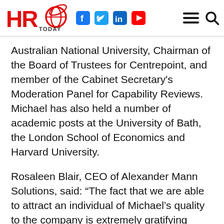HRO Today [logo with social icons: Facebook, Twitter, LinkedIn, YouTube, menu, search]
Australian National University, Chairman of the Board of Trustees for Centrepoint, and member of the Cabinet Secretary's Moderation Panel for Capability Reviews. Michael has also held a number of academic posts at the University of Bath, the London School of Economics and Harvard University.
Rosaleen Blair, CEO of Alexander Mann Solutions, said: “The fact that we are able to attract an individual of Michael’s quality to the company is extremely gratifying